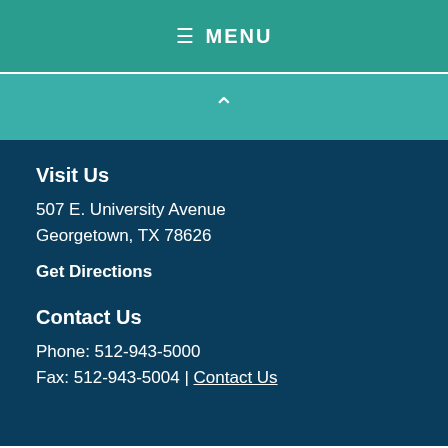≡ MENU
Visit Us
507 E. University Avenue
Georgetown, TX 78626
Get Directions
Contact Us
Phone: 512-943-5000
Fax: 512-943-5004 | Contact Us